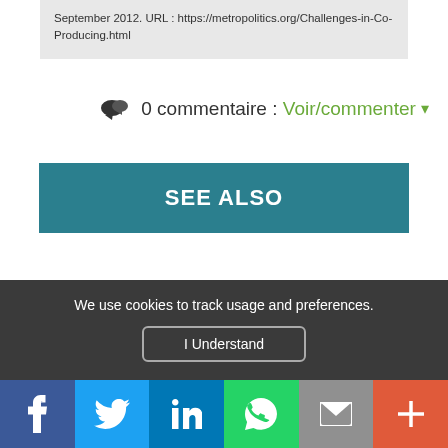September 2012. URL : https://metropolitics.org/Challenges-in-Co-Producing.html
0 commentaire : Voir/commenter ▾
SEE ALSO
We use cookies to track usage and preferences.
I Understand